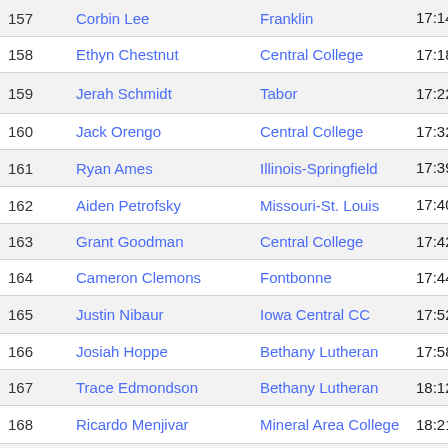| # | Name | School | Time |
| --- | --- | --- | --- |
| 157 | Corbin Lee | Franklin | 17:14.43 + |
| 158 | Ethyn Chestnut | Central College | 17:18.61 |
| 159 | Jerah Schmidt | Tabor | 17:22.24 * * |
| 160 | Jack Orengo | Central College | 17:32.17 |
| 161 | Ryan Ames | Illinois-Springfield | 17:39.96 + |
| 162 | Aiden Petrofsky | Missouri-St. Louis | 17:40.23 + |
| 163 | Grant Goodman | Central College | 17:42.56 |
| 164 | Cameron Clemons | Fontbonne | 17:44.32 |
| 165 | Justin Nibaur | Iowa Central CC | 17:52.01 ✓✓ |
| 166 | Josiah Hoppe | Bethany Lutheran | 17:58.19 |
| 167 | Trace Edmondson | Bethany Lutheran | 18:12.15 |
| 168 | Ricardo Menjivar | Mineral Area College | 18:21.71 ✓✓ |
| 169 | Christian Kafoury | Missouri Baptist | 18:28.04 * * |
| 170 | Alex Ahrens | Missouri Baptist | 19:12.84 * + |